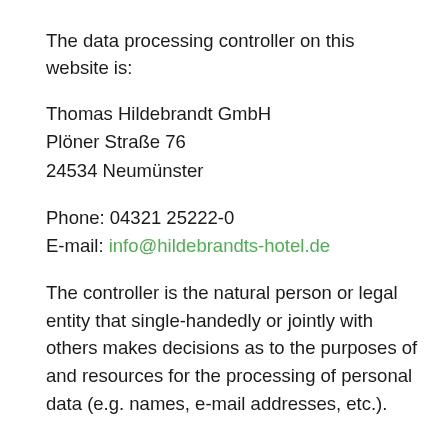The data processing controller on this website is:
Thomas Hildebrandt GmbH
Plöner Straße 76
24534 Neumünster
Phone: 04321 25222-0
E-mail: info@hildebrandts-hotel.de
The controller is the natural person or legal entity that single-handedly or jointly with others makes decisions as to the purposes of and resources for the processing of personal data (e.g. names, e-mail addresses, etc.).
REVOCATION OF YOUR CONSENT TO THE